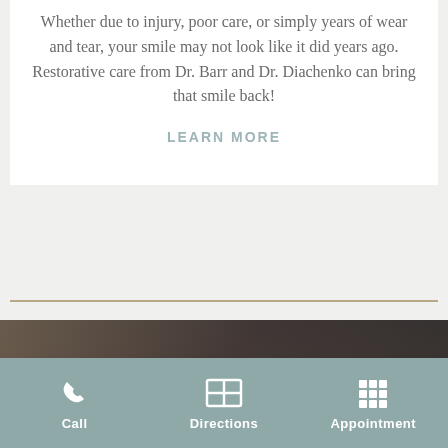Whether due to injury, poor care, or simply years of wear and tear, your smile may not look like it did years ago. Restorative care from Dr. Barr and Dr. Diachenko can bring that smile back!
LEARN MORE
[Figure (photo): Close-up photo of a person with blonde hair, partially visible, dark background]
Call   Directions   Appointment